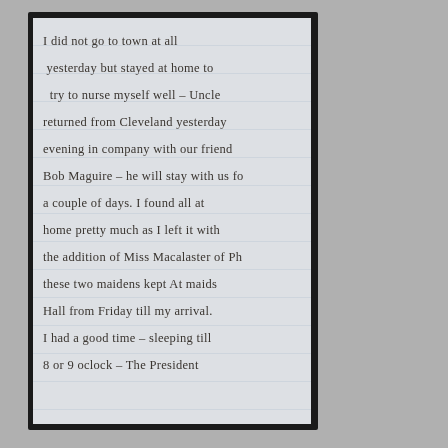I did not go to town at all yesterday but stayed at home to try to nurse myself well – Uncle returned from Cleveland yesterday evening in company with our friend Bob Maguire – he will stay with us for a couple of days. I found all at home pretty much as I left it with the addition of Miss Macalaster of Phi. These two maidens kept At maid's Hall from Friday till my arrival. I had a good time – sleeping till 8 or 9 oclock – The President